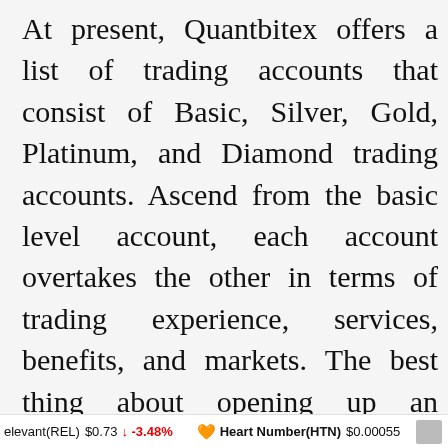At present, Quantbitex offers a list of trading accounts that consist of Basic, Silver, Gold, Platinum, and Diamond trading accounts. Ascend from the basic level account, each account overtakes the other in terms of trading experience, services, benefits, and markets. The best thing about opening up an account at the exchange is that you get to make a deposit of as low as €250. Therefore, you can choose the account as per your
elevant(REL) $0.73 ↓ -3.48%  🧡 Heart Number(HTN) $0.00055